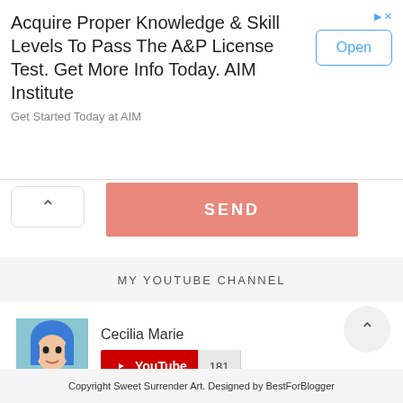[Figure (screenshot): Advertisement banner for AIM Institute A&P License Test preparation]
Acquire Proper Knowledge & Skill Levels To Pass The A&P License Test. Get More Info Today. AIM Institute
Get Started Today at AIM
[Figure (screenshot): SEND button in salmon/pink color]
MY YOUTUBE CHANNEL
[Figure (screenshot): YouTube channel widget for Cecilia Marie with subscriber count 181]
Copyright Sweet Surrender Art. Designed by BestForBlogger